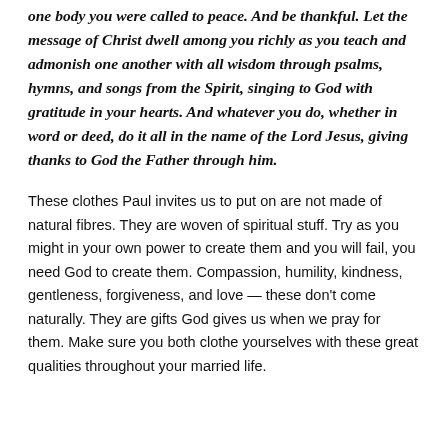one body you were called to peace. And be thankful. Let the message of Christ dwell among you richly as you teach and admonish one another with all wisdom through psalms, hymns, and songs from the Spirit, singing to God with gratitude in your hearts. And whatever you do, whether in word or deed, do it all in the name of the Lord Jesus, giving thanks to God the Father through him.
These clothes Paul invites us to put on are not made of natural fibres. They are woven of spiritual stuff. Try as you might in your own power to create them and you will fail, you need God to create them. Compassion, humility, kindness, gentleness, forgiveness, and love — these don't come naturally. They are gifts God gives us when we pray for them. Make sure you both clothe yourselves with these great qualities throughout your married life.